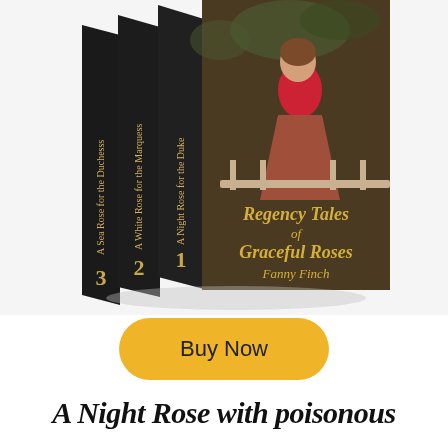[Figure (photo): A box set of three romance novels titled 'Regency Tales of Graceful Roses' by Fanny Finch. The set shows three book spines labeled 1, 2, 3. Book 1 spine: 'A Night Rose for the Duke', Book 2 spine: 'A White Rose for the Marquess', Book 3 spine: 'A Sea Rose for the Duchesss'. The front cover features a woman in a red dress in a garden setting.]
[Figure (other): A yellow/gold rounded rectangle button with text 'Buy Now' in dark color.]
A Night Rose with poisonous